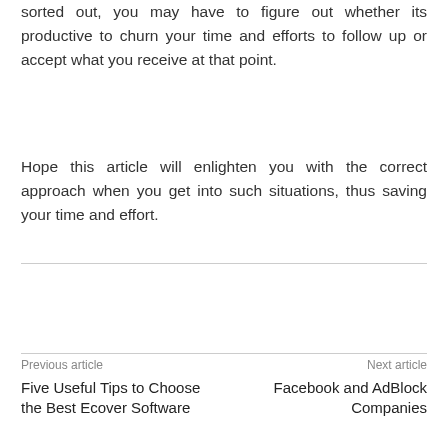sorted out, you may have to figure out whether its productive to churn your time and efforts to follow up or accept what you receive at that point.
Hope this article will enlighten you with the correct approach when you get into such situations, thus saving your time and effort.
Previous article
Five Useful Tips to Choose the Best Ecover Software
Next article
Facebook and AdBlock Companies